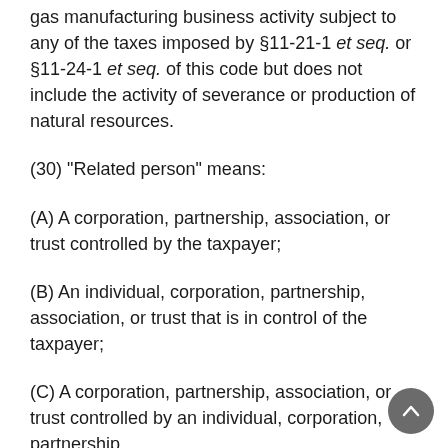gas manufacturing business activity subject to any of the taxes imposed by §11-21-1 et seq. or §11-24-1 et seq. of this code but does not include the activity of severance or production of natural resources.
(30) “Related person” means:
(A) A corporation, partnership, association, or trust controlled by the taxpayer;
(B) An individual, corporation, partnership, association, or trust that is in control of the taxpayer;
(C) A corporation, partnership, association, or trust controlled by an individual, corporation, partnership, association, or that is in control of the taxpayer;